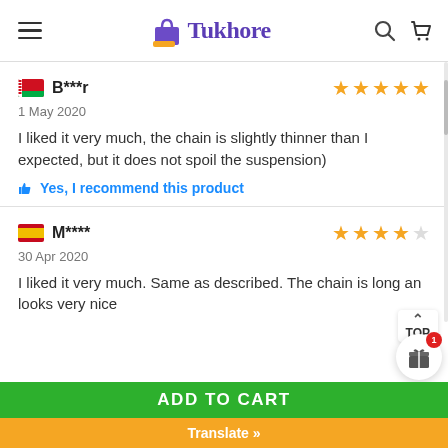Tukhore — navigation header with hamburger, logo, search and cart icons
B***r — 1 May 2020 — 4 stars — I liked it very much, the chain is slightly thinner than I expected, but it does not spoil the suspension) — Yes, I recommend this product
M**** — 30 Apr 2020 — 4 stars — I liked it very much. Same as described. The chain is long and looks very nice
ADD TO CART
Translate »